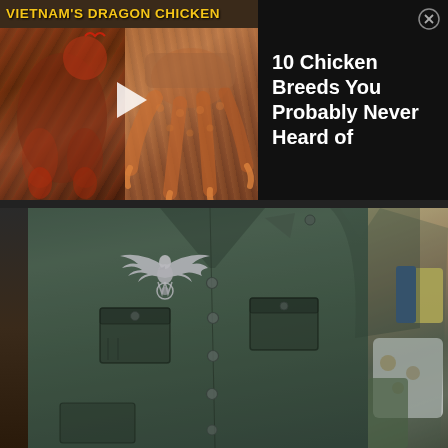[Figure (screenshot): Vietnam's Dragon Chicken video thumbnail showing a red-feathered chicken on the left and large dragon-like chicken feet/claws on the right, with a play button overlay and yellow title text reading VIETNAM'S DRAGON CHICKEN]
[Figure (screenshot): Advertisement panel with text '10 Chicken Breeds You Probably Never Heard of' on black background with a close (X) button]
[Figure (photo): Photograph of a dark grey-green WWII-era German military uniform jacket/tunic displayed, showing a Wehrmacht eagle insignia (Hoheitsabzeichen) on the left breast, multiple buttons down the front, chest pockets with flap buttons, and collar insignia. Items visible in the background on the right side include colorful fabric and bags.]